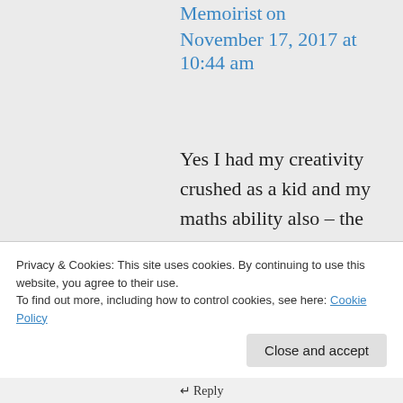Memoirist on November 17, 2017 at 10:44 am
Yes I had my creativity crushed as a kid and my maths ability also – the teaching techniques of the time didn't suit me as they didn't a lot of other children. I
Privacy & Cookies: This site uses cookies. By continuing to use this website, you agree to their use.
To find out more, including how to control cookies, see here: Cookie Policy
Close and accept
↵ Reply